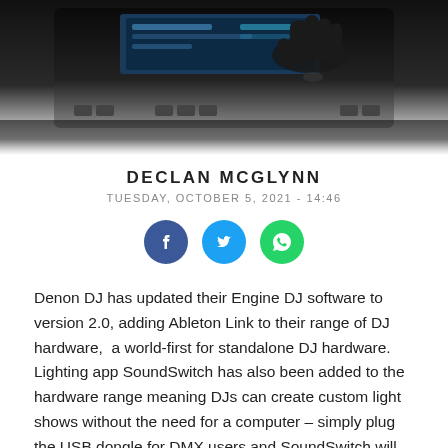[Figure (photo): Dark silhouette of a hand touching a DJ hardware device screen, with device control buttons visible at the bottom, fading to white at the bottom of the image.]
DECLAN MCGLYNN
TUESDAY, OCTOBER 5, 2021 - 14:46
[Figure (other): Social share icons: Facebook (blue circle), Twitter (blue circle), WhatsApp (green circle)]
Denon DJ has updated their Engine DJ software to version 2.0, adding Ableton Link to their range of DJ hardware, a world-first for standalone DJ hardware. Lighting app SoundSwitch has also been added to the hardware range meaning DJs can create custom light shows without the need for a computer – simply plug the USB dongle for DMX users and SoundSwitch will automatically create light shows based on what's playing. Or, Philips Hue users can connect wirelessly